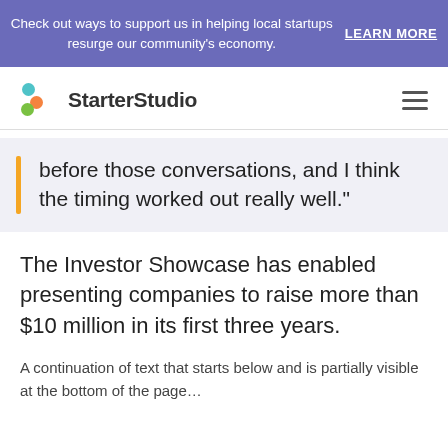Check out ways to support us in helping local startups resurge our community's economy. LEARN MORE
[Figure (logo): StarterStudio logo with three colored dots (teal, orange, green) and the text StarterStudio]
before those conversations, and I think the timing worked out really well."
The Investor Showcase has enabled presenting companies to raise more than $10 million in its first three years.
A continuation of text that starts below...